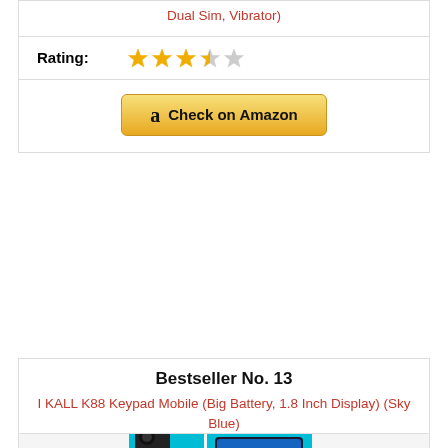Dual Sim, Vibrator)
Rating: ★★★☆☆ (3 out of 5 stars)
Check on Amazon
Bestseller No. 13
[Figure (photo): I KALL K88 keypad mobile phone in sky blue color, showing front and back view with small color display showing time 01:06]
I KALL K88 Keypad Mobile (Big Battery, 1.8 Inch Display) (Sky Blue)